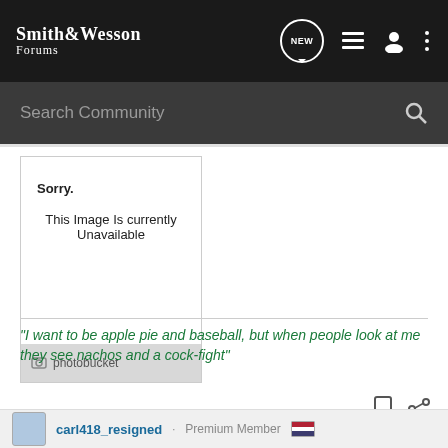Smith & Wesson Forums
Search Community
[Figure (screenshot): Photobucket unavailable image placeholder showing 'Sorry. This Image Is Currently Unavailable' with Photobucket branding at bottom]
"I want to be apple pie and baseball, but when people look at me they see nachos and a cock-fight"
carl418_resigned · Premium Member